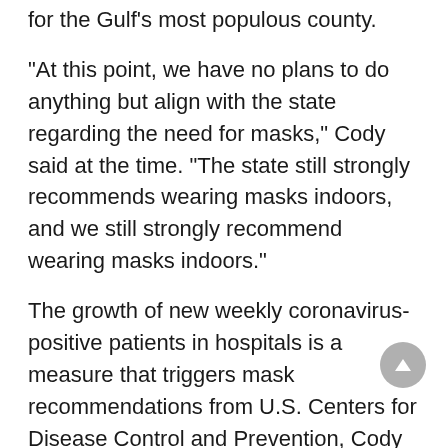for the Gulf's most populous county.
“At this point, we have no plans to do anything but align with the state regarding the need for masks,” Cody said at the time. “The state still strongly recommends wearing masks indoors, and we still strongly recommend wearing masks indoors.”
The growth of new weekly coronavirus-positive patients in hospitals is a measure that triggers mask recommendations from U.S. Centers for Disease Control and Prevention, Cody told the Santa Clara County Board of Supervisors on Tuesday that the most significant impacts are hospitals. Reporting from the current wave is that workers are sick with COVID-19.
“We’ve never seen so many people with this wave who are seriously ill and need to be hospitalized for their